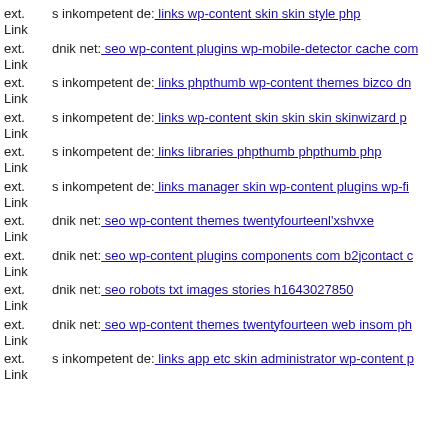ext. Link s inkompetent de: links wp-content skin skin style php
ext. Link dnik net: seo wp-content plugins wp-mobile-detector cache com
ext. Link s inkompetent de: links phpthumb wp-content themes bizco dn
ext. Link s inkompetent de: links wp-content skin skin skin skinwizard p
ext. Link s inkompetent de: links libraries phpthumb phpthumb php
ext. Link s inkompetent de: links manager skin wp-content plugins wp-fi
ext. Link dnik net: seo wp-content themes twentyfourteenl'xshvxe
ext. Link dnik net: seo wp-content plugins components com b2jcontact c
ext. Link dnik net: seo robots txt images stories h1643027850
ext. Link dnik net: seo wp-content themes twentyfourteen web insom ph
ext. Link s inkompetent de: links app etc skin administrator wp-content p